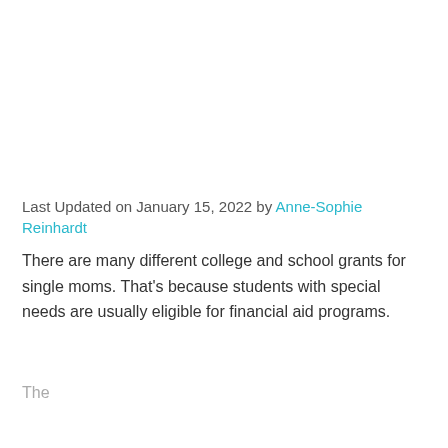Last Updated on January 15, 2022 by Anne-Sophie Reinhardt
There are many different college and school grants for single moms. That's because students with special needs are usually eligible for financial aid programs.
...